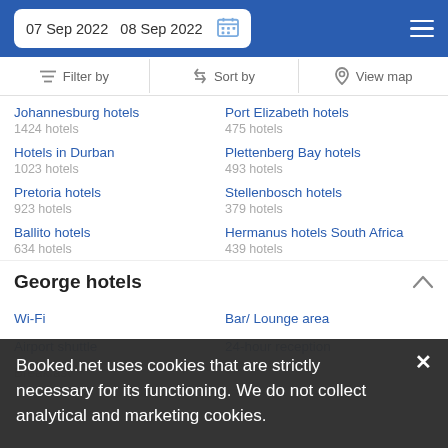07 Sep 2022  08 Sep 2022
Filter by  Sort by  View map
Johannesburg hotels
1424 hotels
Port Elizabeth hotels
475 hotels
Hotels in Durban
1023 hotels
Plettenberg Bay hotels
493 hotels
Pretoria hotels
923 hotels
Stellenbosch hotels
379 hotels
Ballito hotels
634 hotels
Hermanus hotels South Africa
439 hotels
George hotels
Wi-Fi
Bar/ Lounge area
Airport shuttle
24-hour reception
Breakfast
Booked.net uses cookies that are strictly necessary for its functioning. We do not collect analytical and marketing cookies.